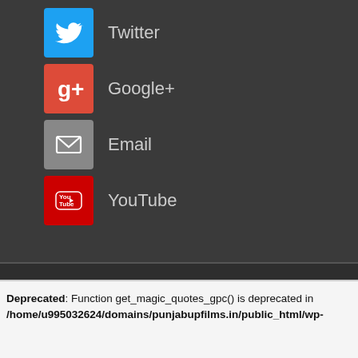Twitter
Google+
Email
YouTube
© 2022 Punjabup films. All Rights Reserved.
Site Set by Web Media Art
Deprecated: Function get_magic_quotes_gpc() is deprecated in /home/u995032624/domains/punjabupfilms.in/public_html/wp-